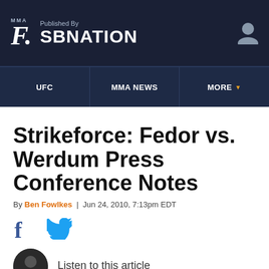MMA F. Published By SBNATION
UFC | MMA NEWS | MORE
Strikeforce: Fedor vs. Werdum Press Conference Notes
By Ben Fowlkes | Jun 24, 2010, 7:13pm EDT
[Figure (infographic): Facebook and Twitter share icons]
Listen to this article